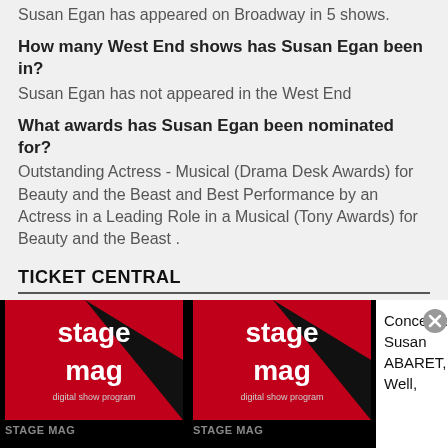Susan Egan has appeared on Broadway in 5 shows.
How many West End shows has Susan Egan been in?
Susan Egan has not appeared in the West End
What awards has Susan Egan been nominated for?
Outstanding Actress - Musical (Drama Desk Awards) for Beauty and the Beast and Best Performance by an Actress in a Leading Role in a Musical (Tony Awards) for Beauty and the Beast .
TICKET CENTRAL
This Week's HOT Shows
[Figure (logo): Stage Mag digital show program logo - red and black design]
STAGE MAG
[Figure (logo): Stage Mag digital show program logo - red and black design]
STAGE MAG
Concerts: Susan ABARET, Well,